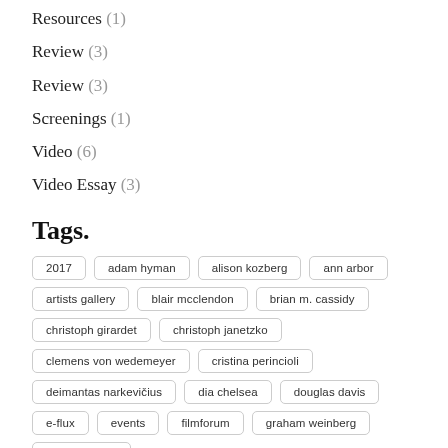Resources (1)
Review (3)
Review (3)
Screenings (1)
Video (6)
Video Essay (3)
Tags.
2017
adam hyman
alison kozberg
ann arbor
artists gallery
blair mcclendon
brian m. cassidy
christoph girardet
christoph janetzko
clemens von wedemeyer
cristina perincioli
deimantas narkevičius
dia chelsea
douglas davis
e-flux
events
filmforum
graham weinberg
hasan franchi